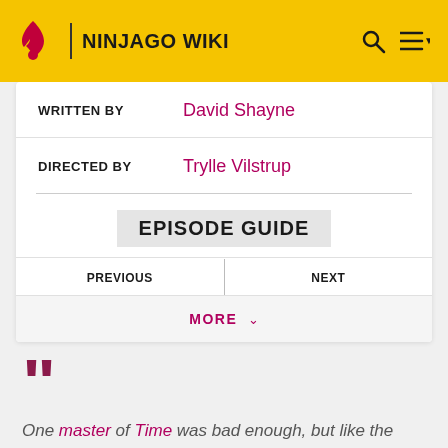NINJAGO WIKI
WRITTEN BY — David Shayne
DIRECTED BY — Trylle Vilstrup
EPISODE GUIDE
PREVIOUS
NEXT
MORE
One master of Time was bad enough, but like the hands on a clock, there were two.